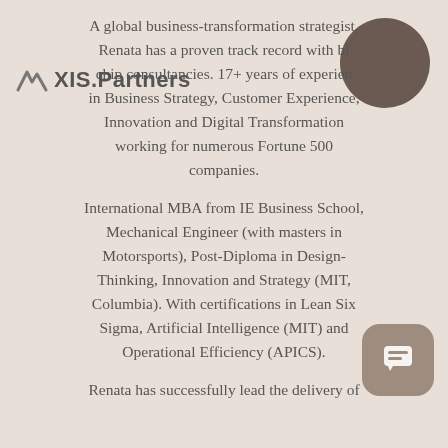[Figure (logo): Axis Partners logo with angular mountain/chevron icon and text 'AXIS.Partners']
[Figure (photo): Brown circular profile photo placeholder in top right corner]
A global business-transformation strategist, Renata has a proven track record with blue chip consultancies. 17+ years of experience in Business Strategy, Customer Experience, Innovation and Digital Transformation working for numerous Fortune 500 companies.
International MBA from IE Business School, Mechanical Engineer (with masters in Motorsports), Post-Diploma in Design-Thinking, Innovation and Strategy (MIT, Columbia). With certifications in Lean Six Sigma, Artificial Intelligence (MIT) and Operational Efficiency (APICS).
Renata has successfully lead the delivery of
[Figure (illustration): Rounded square chat/message button icon in bottom right corner]